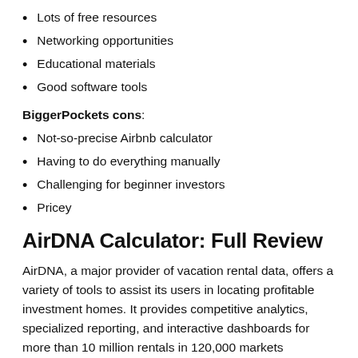Lots of free resources
Networking opportunities
Educational materials
Good software tools
BiggerPockets cons:
Not-so-precise Airbnb calculator
Having to do everything manually
Challenging for beginner investors
Pricey
AirDNA Calculator: Full Review
AirDNA, a major provider of vacation rental data, offers a variety of tools to assist its users in locating profitable investment homes. It provides competitive analytics, specialized reporting, and interactive dashboards for more than 10 million rentals in 120,000 markets worldwide. It allows vacation rental investors to understand and analyze significant trends in the short-term rental business by leveraging past and forecasted data to maximize revenue possibilities.
The AirDNA calculator (AirDNA Rentalizer) is a popular tool that